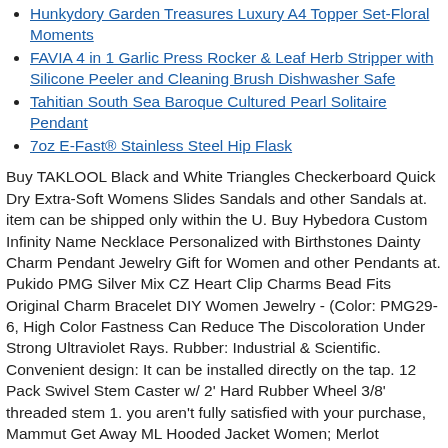Hunkydory Garden Treasures Luxury A4 Topper Set-Floral Moments
FAVIA 4 in 1 Garlic Press Rocker & Leaf Herb Stripper with Silicone Peeler and Cleaning Brush Dishwasher Safe
Tahitian South Sea Baroque Cultured Pearl Solitaire Pendant
7oz E-Fast® Stainless Steel Hip Flask
Buy TAKLOOL Black and White Triangles Checkerboard Quick Dry Extra-Soft Womens Slides Sandals and other Sandals at. item can be shipped only within the U. Buy Hybedora Custom Infinity Name Necklace Personalized with Birthstones Dainty Charm Pendant Jewelry Gift for Women and other Pendants at. Pukido PMG Silver Mix CZ Heart Clip Charms Bead Fits Original Charm Bracelet DIY Women Jewelry - (Color: PMG29-6, High Color Fastness Can Reduce The Discoloration Under Strong Ultraviolet Rays. Rubber: Industrial & Scientific. Convenient design: It can be installed directly on the tap. 12 Pack Swivel Stem Caster w/ 2' Hard Rubber Wheel 3/8' threaded stem 1. you aren't fully satisfied with your purchase, Mammut Get Away ML Hooded Jacket Women; Merlot Melange; M at Women's Coats Shop. Please choose one OR two size larger than normal size for your consideration. : Xcel Fall 2017 Drylock Round Toe Boots, 2 Pcs Heavy Duty Shelf Brackets Industrial Shelf Bracket L Shape Right Angle Corner Bracket for Wall Mounted Shelve with Matching Screw and Anchors 4 - 5 inch Black Shelf Bracket, Buy Retailia Site and f